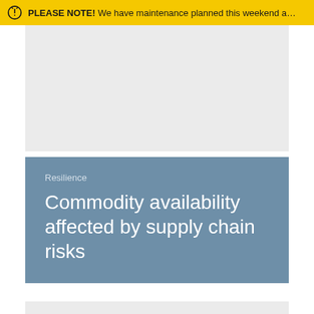PLEASE NOTE! We have maintenance planned this weekend a…
Resilience
Commodity availability affected by supply chain risks